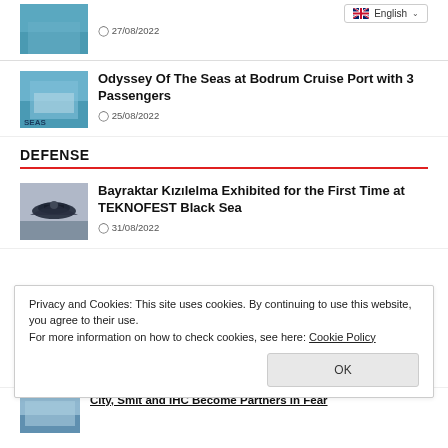27/08/2022
English
Odyssey Of The Seas at Bodrum Cruise Port with 3 Passengers
25/08/2022
DEFENSE
Bayraktar Kızılelma Exhibited for the First Time at TEKNOFEST Black Sea
31/08/2022
Privacy and Cookies: This site uses cookies. By continuing to use this website, you agree to their use.
For more information on how to check cookies, see here: Cookie Policy
OK
City, Smit and IHC Become Partners in Fear